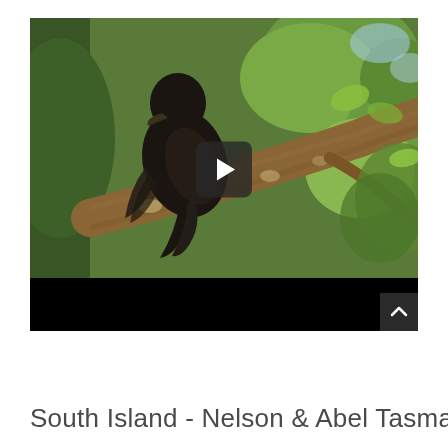[Figure (screenshot): A video player thumbnail showing a dark bird perched on a branch in a green leafy tree. The video has a play button overlay in the center and a black bar at the bottom. A scroll-up button is visible at the bottom right corner.]
South Island - Nelson & Abel Tasman